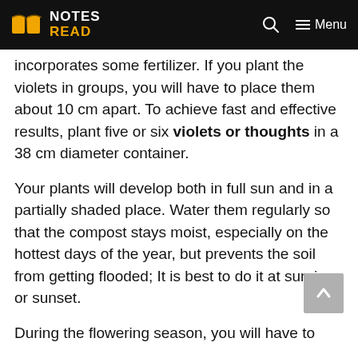NOTES READ
incorporates some fertilizer. If you plant the violets in groups, you will have to place them about 10 cm apart. To achieve fast and effective results, plant five or six violets or thoughts in a 38 cm diameter container.
Your plants will develop both in full sun and in a partially shaded place. Water them regularly so that the compost stays moist, especially on the hottest days of the year, but prevents the soil from getting flooded; It is best to do it at sunrise or sunset.
During the flowering season, you will have to